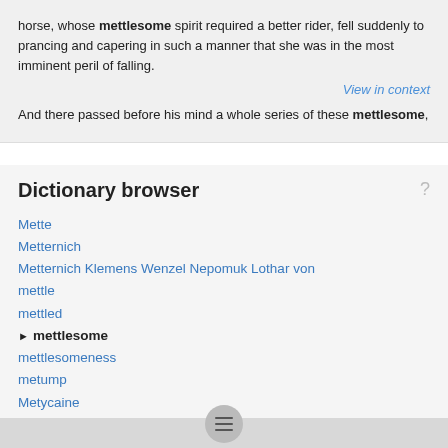horse, whose mettlesome spirit required a better rider, fell suddenly to prancing and capering in such a manner that she was in the most imminent peril of falling.
View in context
And there passed before his mind a whole series of these mettlesome,
Dictionary browser
Mette
Metternich
Metternich Klemens Wenzel Nepomuk Lothar von
mettle
mettled
mettlesome
mettlesomeness
metump
Metycaine
Metz
meu
Meum